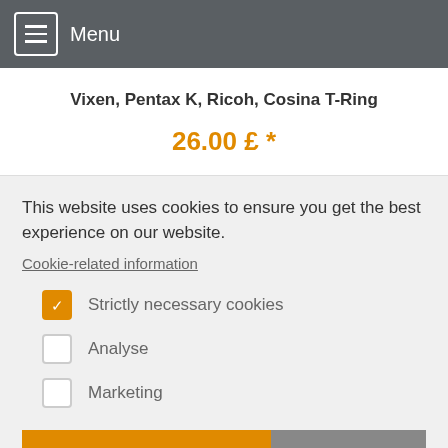Menu
Vixen, Pentax K, Ricoh, Cosina T-Ring
26.00 £ *
This website uses cookies to ensure you get the best experience on our website.
Cookie-related information
Strictly necessary cookies
Analyse
Marketing
Accept all
Save